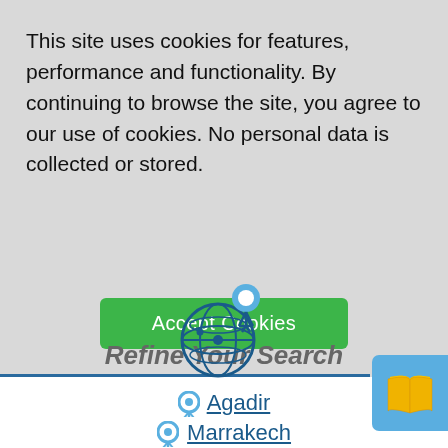This site uses cookies for features, performance and functionality. By continuing to browse the site, you agree to our use of cookies. No personal data is collected or stored.
[Figure (screenshot): Green 'Accept Cookies' button]
[Figure (illustration): Blue book icon in a blue rounded square button in the top-right corner]
[Figure (illustration): Globe with location pin icon above, in dark blue, representing a search/location feature]
Refine Your Search
Agadir
Marrakech